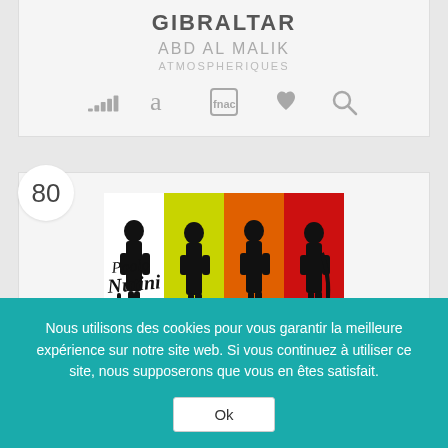GIBRALTAR
ABD AL MALIK
ATMOSPHERIQUES
[Figure (other): Row of streaming/music service icons: Deezer, Amazon, Fnac, Apple, and a search/magnifier icon]
80
[Figure (photo): Album cover for Paolo Nutini 'These Streets' showing four stylized figures in silhouette against colored vertical stripes (white, yellow-green, orange, red)]
Nous utilisons des cookies pour vous garantir la meilleure expérience sur notre site web. Si vous continuez à utiliser ce site, nous supposerons que vous en êtes satisfait.
Ok